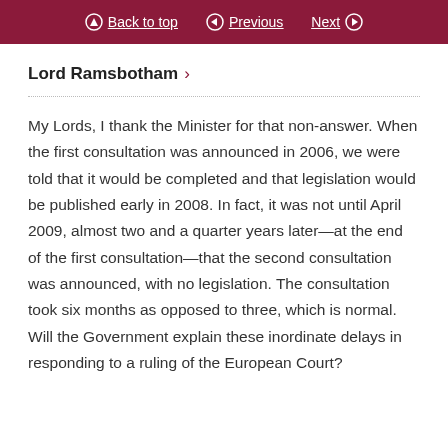Back to top   Previous   Next
Lord Ramsbotham ›
My Lords, I thank the Minister for that non-answer. When the first consultation was announced in 2006, we were told that it would be completed and that legislation would be published early in 2008. In fact, it was not until April 2009, almost two and a quarter years later—at the end of the first consultation—that the second consultation was announced, with no legislation. The consultation took six months as opposed to three, which is normal. Will the Government explain these inordinate delays in responding to a ruling of the European Court?